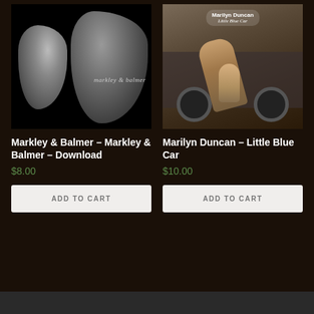[Figure (photo): Album cover for Markley & Balmer — black and white close-up of two faces side by side, text 'markley & balmer' in lower right]
[Figure (photo): Album cover for Marilyn Duncan Little Blue Car — vintage sepia photo of adult bending over a child near a car, with text overlay 'Marilyn Duncan Little Blue Car' at top]
Markley & Balmer – Markley & Balmer – Download
$8.00
ADD TO CART
Marilyn Duncan – Little Blue Car
$10.00
ADD TO CART